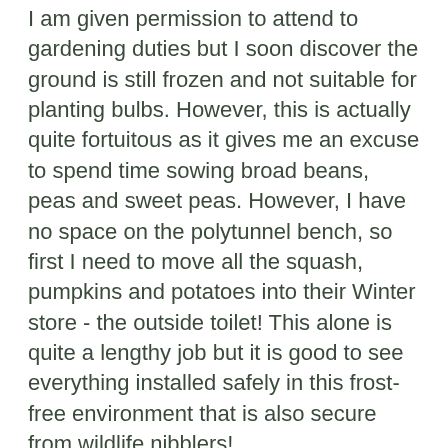I am given permission to attend to gardening duties but I soon discover the ground is still frozen and not suitable for planting bulbs. However, this is actually quite fortuitous as it gives me an excuse to spend time sowing broad beans, peas and sweet peas. However, I have no space on the polytunnel bench, so first I need to move all the squash, pumpkins and potatoes into their Winter store - the outside toilet! This alone is quite a lengthy job but it is good to see everything installed safely in this frost-free environment that is also secure from wildlife nibblers!
I then set myself up at my outside table making the most of the sun and start filling root trainers with seed compost. I sow two 32 module trays of broad